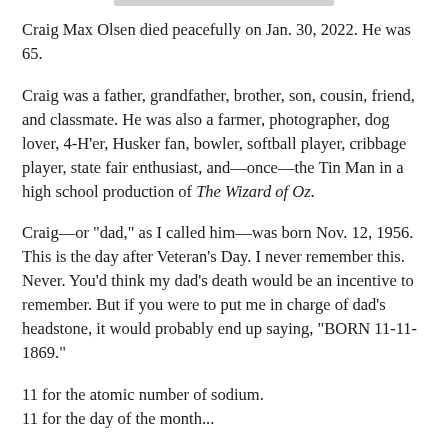Craig Max Olsen died peacefully on Jan. 30, 2022. He was 65.
Craig was a father, grandfather, brother, son, cousin, friend, and classmate. He was also a farmer, photographer, dog lover, 4-H'er, Husker fan, bowler, softball player, cribbage player, state fair enthusiast, and—once—the Tin Man in a high school production of The Wizard of Oz.
Craig—or "dad," as I called him—was born Nov. 12, 1956. This is the day after Veteran's Day. I never remember this. Never. You'd think my dad's death would be an incentive to remember. But if you were to put me in charge of dad's headstone, it would probably end up saying, "BORN 11-11-1869."
11 for the atomic number of sodium.
11 for the day of the month...